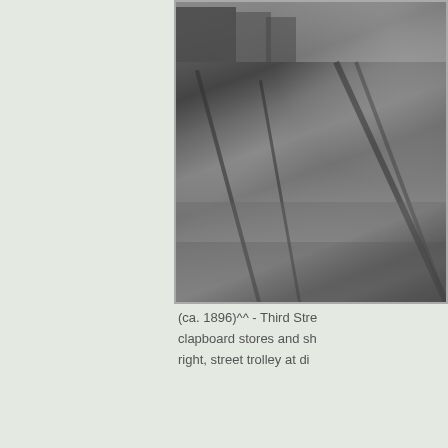[Figure (photo): Black and white historical photograph (ca. 1896) showing Third Street with clapboard stores and shops, railroad tracks, street trolley at distance]
(ca. 1896)^^ - Third Street... clapboard stores and sh... right, street trolley at di...